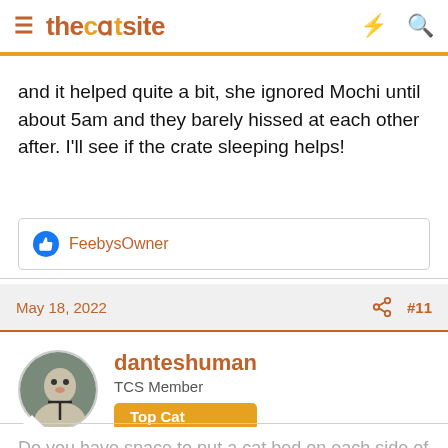thecatsite
and it helped quite a bit, she ignored Mochi until about 5am and they barely hissed at each other after. I'll see if the crate sleeping helps!
FeebysOwner
May 18, 2022  #11
danteshuman
TCS Member
Top Cat
Do you have space to put a cat bed on each side of you in your bed or a cat bed velcro-Ed on a nightstand? I